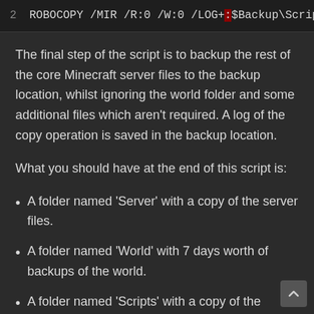2  ROBOCOPY /MIR /R:0 /W:0 /LOG+:$Backup\Scripts\
The final step of the script is to backup the rest of the core Minecraft server files to the backup location, whilst ignoring the world folder and some additional files which aren't required. A log of the copy operation is saved in the backup location.
What you should have at the end of this script is:
A folder named 'Server' with a copy of the server files.
A folder named 'World' with 7 days worth of backups of the world.
A folder named 'Scripts' with a copy of the backup script and a log of the Robocopy sync operation